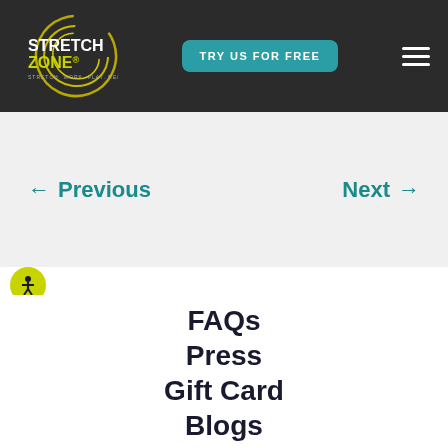STRETCH ZONE® — TRY US FOR FREE — [hamburger menu]
← Previous    Next →
[Figure (illustration): Yellow circular accessibility icon with human figure]
FAQs
Press
Gift Card
Blogs
Work Here
Terms Of Use